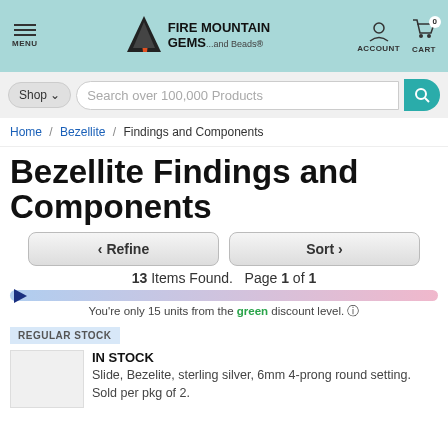[Figure (logo): Fire Mountain Gems and Beads logo with mountain/flame icon]
Home / Bezellite / Findings and Components
Bezellite Findings and Components
13 Items Found.  Page 1 of 1
You're only 15 units from the green discount level.
REGULAR STOCK
IN STOCK
Slide, Bezelite, sterling silver, 6mm 4-prong round setting. Sold per pkg of 2.